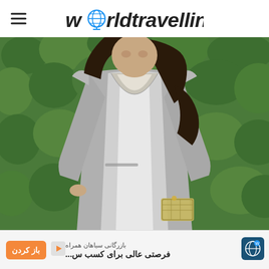worldtravelling
[Figure (photo): A woman wearing a silver/metallic deep V-neck mini dress with long sleeves, holding a small clutch bag, standing in front of a green hedge background.]
بازرگانی سیاهان همراه
فرصتی عالی برای کسب س...